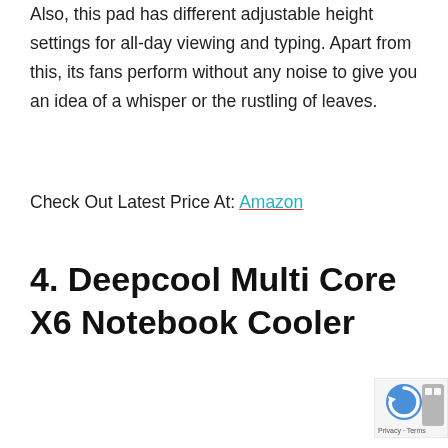Also, this pad has different adjustable height settings for all-day viewing and typing. Apart from this, its fans perform without any noise to give you an idea of a whisper or the rustling of leaves.
Check Out Latest Price At: Amazon
4. Deepcool Multi Core X6 Notebook Cooler